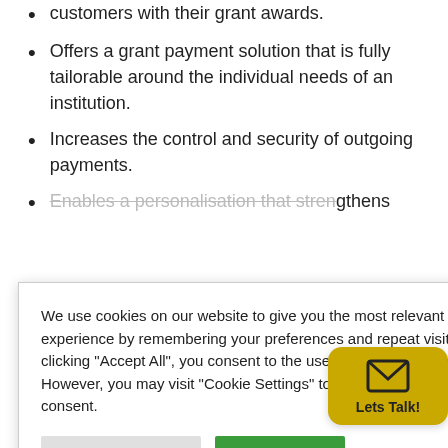customers with their grant awards.
Offers a grant payment solution that is fully tailorable around the individual needs of an institution.
Increases the control and security of outgoing payments.
Enables a personalisation that strengthens loyalty.
[Figure (screenshot): Cookie consent modal dialog with text: We use cookies on our website to give you the most relevant experience by remembering your preferences and repeat visits. By clicking "Accept All", you consent to the use of ALL the cookies. However, you may visit "Cookie Settings" to provide a controlled consent. Two buttons: Cookie Settings and Accept All.]
[Figure (infographic): Yellow rounded rectangle button with envelope icon and text 'Lets Talk!']
to make ... through e- ... awkward and risky process of carrying cash and using cheques.